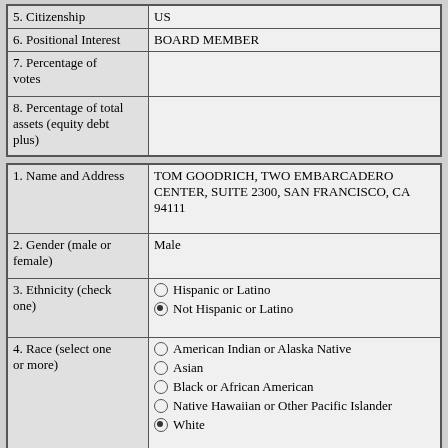| 5. Citizenship | US |
| 6. Positional Interest | BOARD MEMBER |
| 7. Percentage of votes |  |
| 8. Percentage of total assets (equity debt plus) |  |
| 1. Name and Address | TOM GOODRICH, TWO EMBARCADERO CENTER, SUITE 2300, SAN FRANCISCO, CA 94111 |
| 2. Gender (male or female) | Male |
| 3. Ethnicity (check one) | ○ Hispanic or Latino
● Not Hispanic or Latino |
| 4. Race (select one or more) | ○ American Indian or Alaska Native
○ Asian
○ Black or African American
○ Native Hawaiian or Other Pacific Islander
● White |
| 5. Citizenship | US |
| 6. Positional Interest | MEMBER |
| 7. Percentage of votes |  |